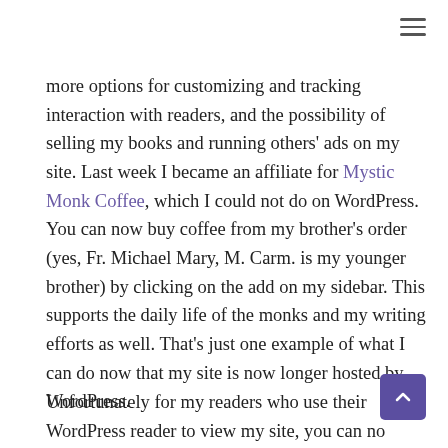more options for customizing and tracking interaction with readers, and the possibility of selling my books and running others' ads on my site. Last week I became an affiliate for Mystic Monk Coffee, which I could not do on WordPress. You can now buy coffee from my brother's order (yes, Fr. Michael Mary, M. Carm. is my younger brother) by clicking on the add on my sidebar. This supports the daily life of the monks and my writing efforts as well. That's just one example of what I can do now that my site is now longer hosted by WordPress.
Unfortunately for my readers who use their WordPress reader to view my site, you can no longer click through to